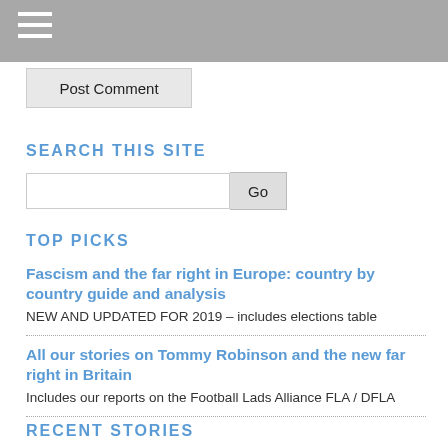Post Comment
SEARCH THIS SITE
Go
TOP PICKS
Fascism and the far right in Europe: country by country guide and analysis
NEW AND UPDATED FOR 2019 – includes elections table
All our stories on Tommy Robinson and the new far right in Britain
Includes our reports on the Football Lads Alliance FLA / DFLA
RECENT STORIES